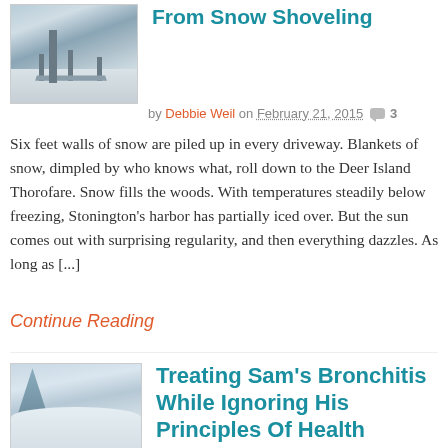[Figure (photo): Black and white winter photo of a snow-covered dock/pier extending into icy water]
From Snow Shoveling
by Debbie Weil on February 21, 2015  3
Six feet walls of snow are piled up in every driveway. Blankets of snow, dimpled by who knows what, roll down to the Deer Island Thorofare. Snow fills the woods. With temperatures steadily below freezing, Stonington’s harbor has partially iced over. But the sun comes out with surprising regularity, and then everything dazzles. As long as [...]
Continue Reading
[Figure (photo): Winter photo of snow-covered outdoor scene with trees and snow-blanketed surfaces]
Treating Sam’s Bronchitis While Ignoring His Principles Of Health